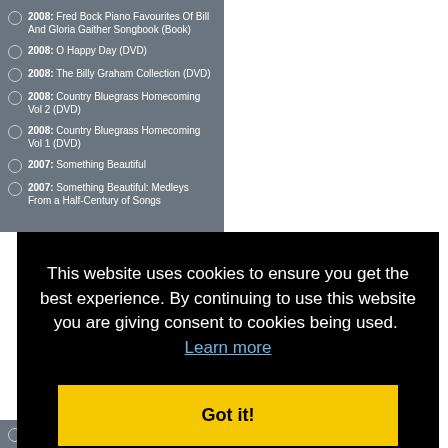2008: Fred Bock Piano Favourites Of Bill And Gloria Gaither Songbook (Book)
2008: O Happy Day (DVD)
2008: The Billy Graham Collection (DVD)
2008: Country Bluegrass Homecoming Vol 2 (DVD)
2008: Country Bluegrass Homecoming Vol 1 (DVD)
2007: Something Beautiful
2007: Something Beautiful: Medleys From a Half-Century of Songs
This website uses cookies to ensure you get the best experience. By continuing to use this website you are giving consent to cookies being used. Learn more
Got it!
2007: How Great Thou Art